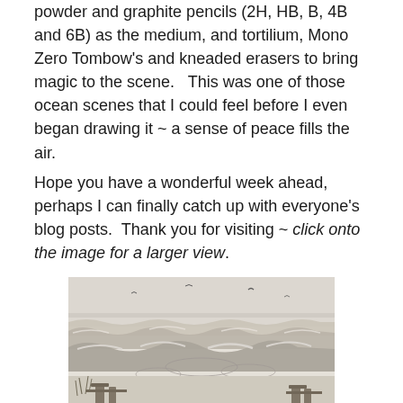powder and graphite pencils (2H, HB, B, 4B and 6B) as the medium, and tortilium, Mono Zero Tombow's and kneaded erasers to bring magic to the scene.   This was one of those ocean scenes that I could feel before I even began drawing it ~ a sense of peace fills the air.
Hope you have a wonderful week ahead, perhaps I can finally catch up with everyone's blog posts.  Thank you for visiting ~ click onto the image for a larger view.
[Figure (illustration): A graphite pencil drawing of a rough ocean scene with waves, birds in the sky, and wooden dock/boardwalk elements in the foreground.]